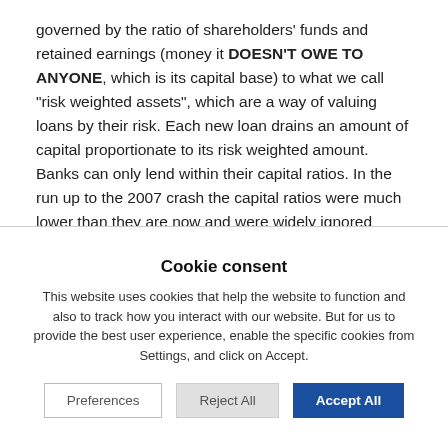governed by the ratio of shareholders' funds and retained earnings (money it DOESN'T OWE TO ANYONE, which is its capital base) to what we call "risk weighted assets", which are a way of valuing loans by their risk. Each new loan drains an amount of capital proportionate to its risk weighted amount. Banks can only lend within their capital ratios. In the run up to the 2007 crash the capital ratios were much lower than they are now and were widely ignored anyway. Now capital requirements are much higher, which limits lending, and hopefully regulators are being tougher about enforcing them. The problem with this is of course that calculating risk
Cookie consent
This website uses cookies that help the website to function and also to track how you interact with our website. But for us to provide the best user experience, enable the specific cookies from Settings, and click on Accept.